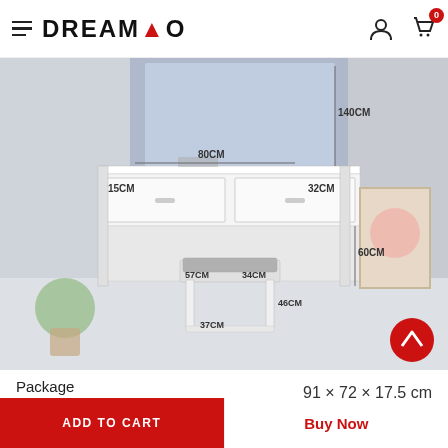DREAMO
[Figure (photo): Product image of a white dressing table with stool, shown with dimension annotations: 140CM (height of mirror), 80CM (width of drawer area), 15CM, 32CM, 57CM, 34CM, 60CM, 46CM, 37CM. The table is white with two drawers, an open shelf below, and a padded grey stool. Room setting with plants and artwork visible.]
Package Dimensions
91 × 72 × 17.5 cm
ADD TO CART
Buy Now